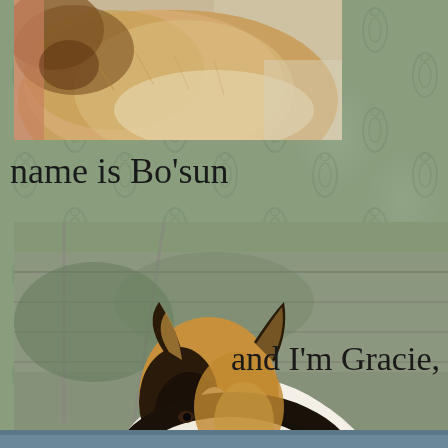[Figure (photo): Partial photo of a fluffy dog (likely golden/cream colored) cropped at top, showing the dog's body from nose level down against a light background]
name is Bo'sun
[Figure (photo): Photo of a Rough Collie (Lassie-type dog) with sable, white and black coloring, standing on pavement with a leash, chain-link fence in background]
and I'm Gracie,
[Figure (photo): Partial bottom edge of another photo visible at very bottom of page, showing blue-tinted water or similar background]